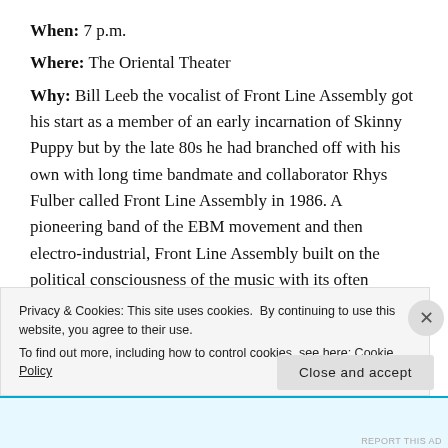When: 7 p.m.
Where: The Oriental Theater
Why: Bill Leeb the vocalist of Front Line Assembly got his start as a member of an early incarnation of Skinny Puppy but by the late 80s he had branched off with his own with long time bandmate and collaborator Rhys Fulber called Front Line Assembly in 1986. A pioneering band of the EBM movement and then electro-industrial, Front Line Assembly built on the political consciousness of the music with its often dystopian depictions of the effects of commercialized technology and industry on
Privacy & Cookies: This site uses cookies. By continuing to use this website, you agree to their use. To find out more, including how to control cookies, see here: Cookie Policy
Close and accept